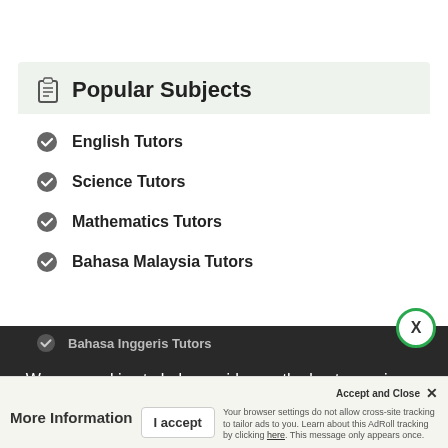Popular Subjects
English Tutors
Science Tutors
Mathematics Tutors
Bahasa Malaysia Tutors
Bahasa Inggeris Tutors
Chemistry Tutors
We use cookies to help provide you the best experience on our website. By continuing to use our site, you constent to our use of these cookies.
Accept and Close ✕
More Information   I accept
Your browser settings do not allow cross-site tracking to tailor ads to you. Learn about this AdRoll tracking by clicking here. This message only appears once.